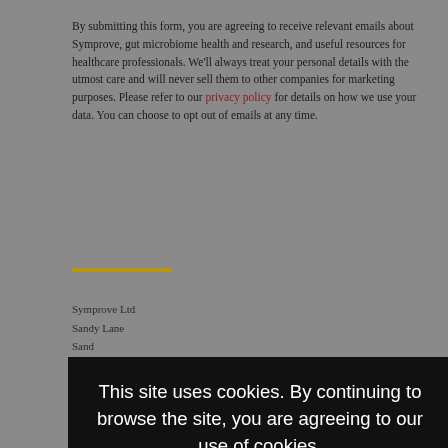By submitting this form, you are agreeing to receive relevant emails about Symprove, gut microbiome health and research, and useful resources for healthcare professionals. We'll always treat your personal details with the utmost care and will never sell them to other companies for marketing purposes. Please refer to our privacy policy for details on how we use your data. You can choose to opt out of emails at any time.
Symprove Ltd
Sandy Lane
Sand
The Sands
Farnham
GU10 1PX
Follow us on:
[Figure (screenshot): Cookie consent overlay on dark background with message 'This site uses cookies. By continuing to browse the site, you are agreeing to our use of cookies.' and three buttons: ACCEPT, HIDE, SETTINGS]